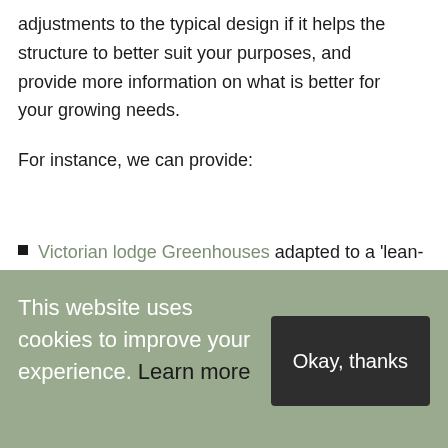adjustments to the typical design if it helps the structure to better suit your purposes, and provide more information on what is better for your growing needs.
For instance, we can provide:
Victorian lodge Greenhouses adapted to a 'lean-to' design;
Greenhouses with two or more entrance doors for easy access;
This website uses cookies to improve your experience. Learn more